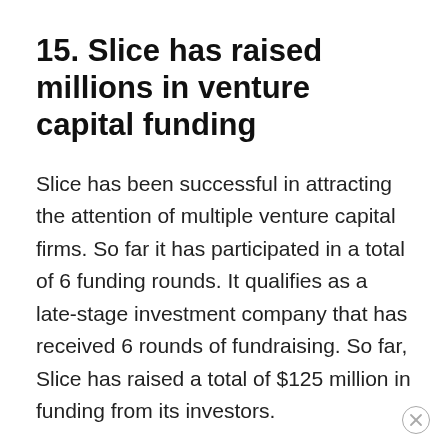15. Slice has raised millions in venture capital funding
Slice has been successful in attracting the attention of multiple venture capital firms. So far it has participated in a total of 6 funding rounds. It qualifies as a late-stage investment company that has received 6 rounds of fundraising. So far, Slice has raised a total of $125 million in funding from its investors.